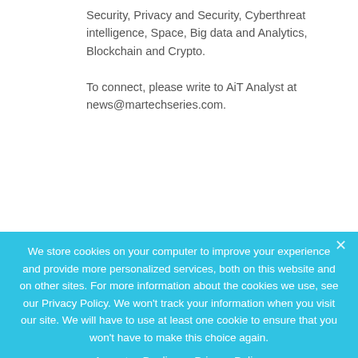Security, Privacy and Security, Cyberthreat intelligence, Space, Big data and Analytics, Blockchain and Crypto.
To connect, please write to AiT Analyst at news@martechseries.com.
← PREV POST
WalkMe and Deloitte Enter Strategic Alliance to Deliver Exponential
NEXT POST →
Lusha Reaches $1.5 Billion Valuation with $205 Million Funding to
We store cookies on your computer to improve your experience and provide more personalized services, both on this website and on other sites. For more information about the cookies we use, see our Privacy Policy. We won't track your information when you visit our site. We will have to use at least one cookie to ensure that you won't have to make this choice again.
Accept   Decline   Privacy Policy